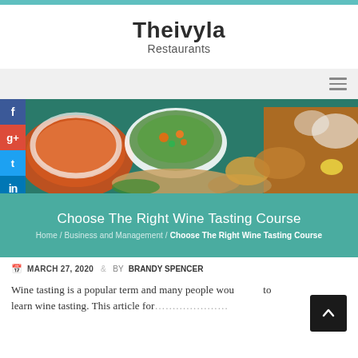Theivyla
Restaurants
[Figure (photo): Banner image of various Indian food dishes on a teal/dark green background, including curry bowls, grilled meats, and breads.]
Choose The Right Wine Tasting Course
Home / Business and Management / Choose The Right Wine Tasting Course
MARCH 27, 2020  BY BRANDY SPENCER
Wine tasting is a popular term and many people wou... to learn wine tasting. This article for...